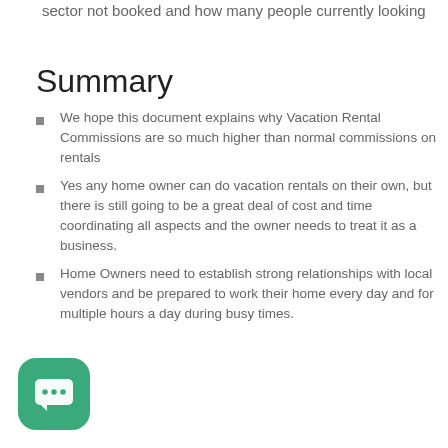sector not booked and how many people currently looking
Summary
We hope this document explains why Vacation Rental Commissions are so much higher than normal commissions on rentals
Yes any home owner can do vacation rentals on their own, but there is still going to be a great deal of cost and time coordinating all aspects and the owner needs to treat it as a business.
Home Owners need to establish strong relationships with local vendors and be prepared to work their home every day and for multiple hours a day during busy times.
[Figure (illustration): Green rounded-square chat bubble icon with three dots]